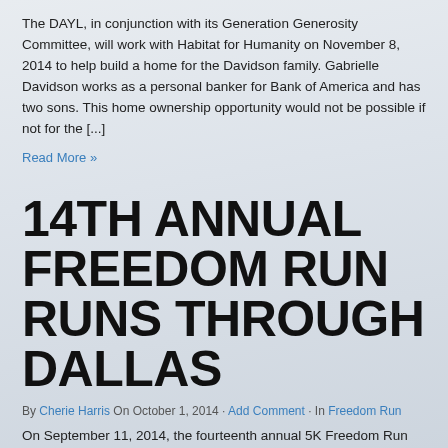The DAYL, in conjunction with its Generation Generosity Committee, will work with Habitat for Humanity on November 8, 2014 to help build a home for the Davidson family. Gabrielle Davidson works as a personal banker for Bank of America and has two sons. This home ownership opportunity would not be possible if not for the [...]
Read More »
14TH ANNUAL FREEDOM RUN RUNS THROUGH DALLAS
By Cherie Harris On October 1, 2014 · Add Comment · In Freedom Run
On September 11, 2014, the fourteenth annual 5K Freedom Run